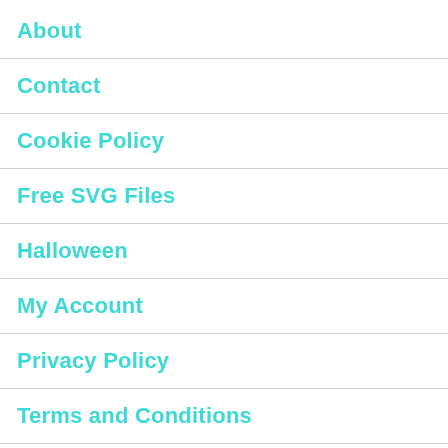About
Contact
Cookie Policy
Free SVG Files
Halloween
My Account
Privacy Policy
Terms and Conditions
Tutorials